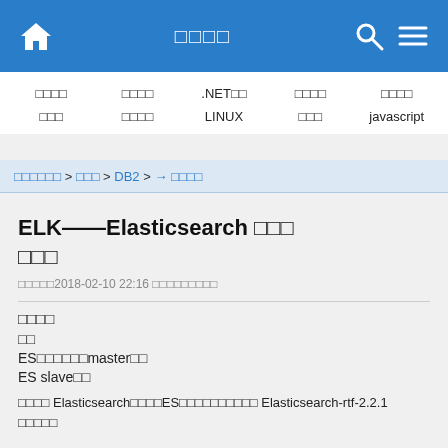□□□□
□□□□  □□□□  .NET□□  □□□□  □□□□
□□□  □□□□  LINUX  □□□  javascript
□□□□□□ > □□□ > DB2 > → □□□□
ELK&mdash;&mdash;Elasticsearch □□□ □□□
□□□□□2018-02-10 22:16 □□□□□□□□□
□□□□
□□
ES□□□□□□master□□
ES slave□□
□□□□ Elasticsearch□□□□ES□□□□□□□□□□ Elasticsearch-rtf-2.2.1 □□□□□